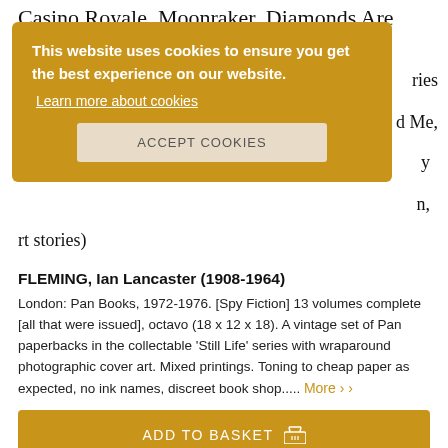Casino Royale, Moonraker, Diamonds Are
ries
d Me,
y
n,
rt stories)
[Figure (screenshot): Cookie consent banner with golden/yellow background reading 'This website uses cookies to ensure you get the best experience on our website.' with a 'Learn more about cookies' link and an 'ACCEPT COOKIES' button.]
FLEMING, Ian Lancaster (1908-1964)
London: Pan Books, 1972-1976. [Spy Fiction] 13 volumes complete [all that were issued], octavo (18 x 12 x 18). A vintage set of Pan paperbacks in the collectable 'Still Life' series with wraparound photographic cover art. Mixed printings. Toning to cheap paper as expected, no ink names, discreet book shop..... More ›
ADD TO BASKET
Price: £295.00